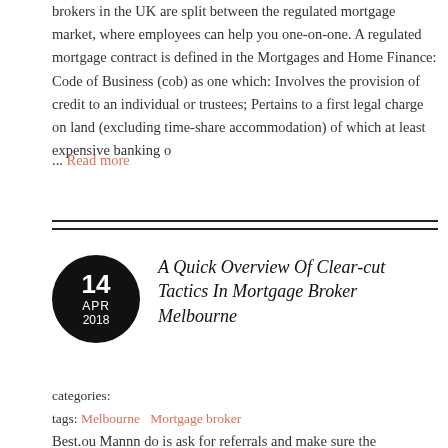brokers in the UK are split between the regulated mortgage market, where employees can help you one-on-one. A regulated mortgage contract is defined in the Mortgages and Home Finance: Code of Business (cob) as one which: Involves the provision of credit to an individual or trustees; Pertains to a first legal charge on land (excluding time-share accommodation) of which at least expensive banking o
... Read more
A Quick Overview Of Clear-cut Tactics In Mortgage Broker Melbourne
categories:
tags: Melbourne   Mortgage broker
Best.ou Mannn do is ask for referrals and make sure the